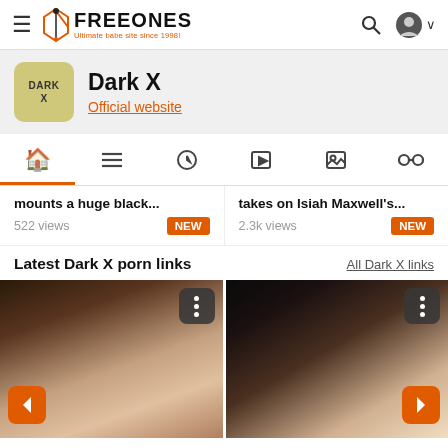FreeOnes - Ultimate babe site since 1998!
Dark X
Official website
mounts a huge black... 522 views NEW
takes on Isiah Maxwell's... 2.3k views NEW
Latest Dark X porn links
All Dark X links
[Figure (photo): Two adult content thumbnail images side by side with navigation arrows and menu buttons]